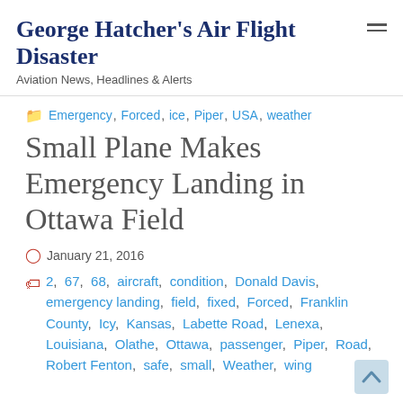George Hatcher's Air Flight Disaster
Aviation News, Headlines & Alerts
Emergency, Forced, ice, Piper, USA, weather
Small Plane Makes Emergency Landing in Ottawa Field
January 21, 2016
2, 67, 68, aircraft, condition, Donald Davis, emergency landing, field, fixed, Forced, Franklin County, Icy, Kansas, Labette Road, Lenexa, Louisiana, Olathe, Ottawa, passenger, Piper, Road, Robert Fenton, safe, small, Weather, wing